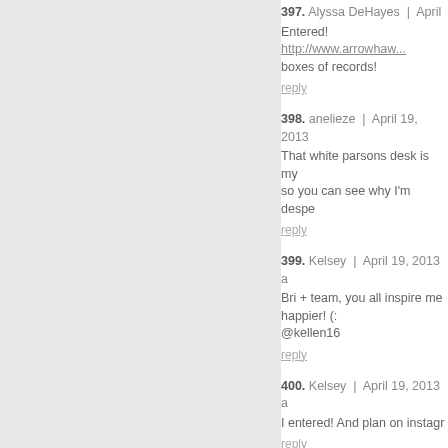397. Alyssa DeHayes | April ... Entered! http://www.arrowhaw... boxes of records! reply
398. anelieze | April 19, 2013... That white parsons desk is my... so you can see why I'm despe... reply
399. Kelsey | April 19, 2013 a... Bri + team, you all inspire me... happier! (: @kellen16 reply
400. Kelsey | April 19, 2013 a... I entered! And plan on instagr... reply
401. Kallie B | April 19, 2013... I entered! Yahoo! reply
402. Michele | April 19, 2013... I entered! Let's do this! reply